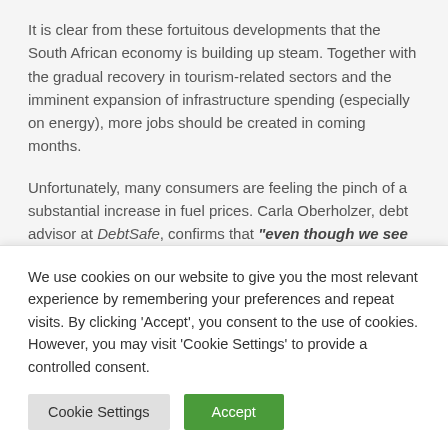It is clear from these fortuitous developments that the South African economy is building up steam. Together with the gradual recovery in tourism-related sectors and the imminent expansion of infrastructure spending (especially on energy), more jobs should be created in coming months.
Unfortunately, many consumers are feeling the pinch of a substantial increase in fuel prices. Carla Oberholzer, debt advisor at DebtSafe, confirms that "even though we see positive trends in the South African
We use cookies on our website to give you the most relevant experience by remembering your preferences and repeat visits. By clicking 'Accept', you consent to the use of cookies. However, you may visit 'Cookie Settings' to provide a controlled consent.